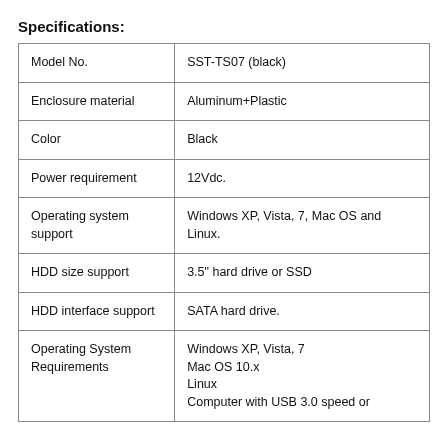Specifications:
|  |  |
| --- | --- |
| Model No. | SST-TS07 (black) |
| Enclosure material | Aluminum+Plastic |
| Color | Black |
| Power requirement | 12Vdc. |
| Operating system support | Windows XP, Vista, 7, Mac OS and Linux. |
| HDD size support | 3.5″ hard drive or SSD |
| HDD interface support | SATA hard drive. |
| Operating System Requirements | Windows XP, Vista, 7
Mac OS 10.x
Linux
Computer with USB 3.0 speed or |